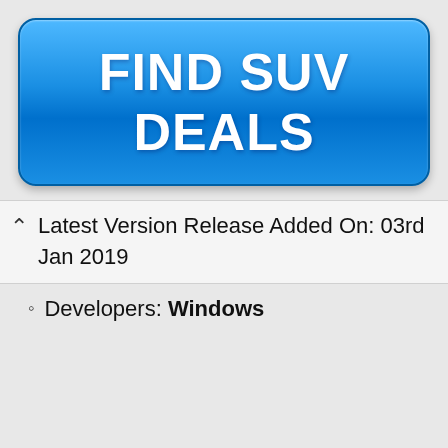[Figure (other): Blue gradient button with bold white text reading FIND SUV DEALS]
Latest Version Release Added On: 03rd Jan 2019
Developers: Windows